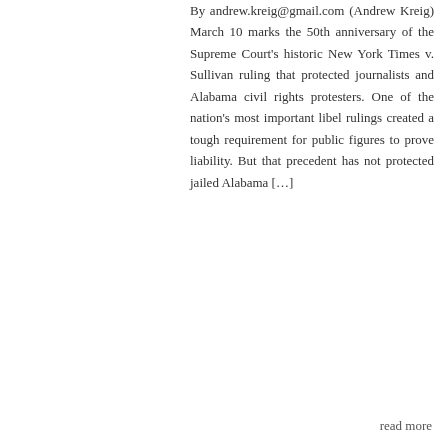By andrew.kreig@gmail.com (Andrew Kreig) March 10 marks the 50th anniversary of the Supreme Court's historic New York Times v. Sullivan ruling that protected journalists and Alabama civil rights protesters. One of the nation's most important libel rulings created a tough requirement for public figures to prove liability. But that precedent has not protected jailed Alabama […]
read more
New Ukrainian Official Urges Chechen Terrorist To Act Against Russia
By  blog  Comments Off